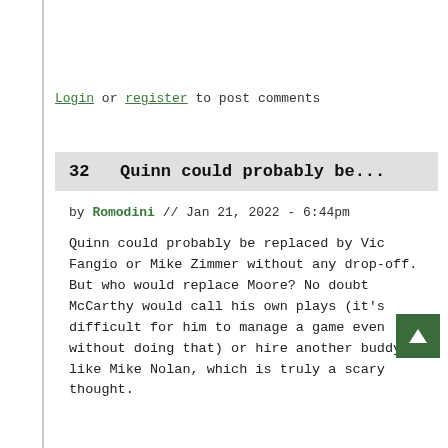Login or register to post comments
32  Quinn could probably be...
by Romodini // Jan 21, 2022 - 6:44pm
Quinn could probably be replaced by Vic Fangio or Mike Zimmer without any drop-off. But who would replace Moore? No doubt McCarthy would call his own plays (it's difficult for him to manage a game even without doing that) or hire another buddy like Mike Nolan, which is truly a scary thought.